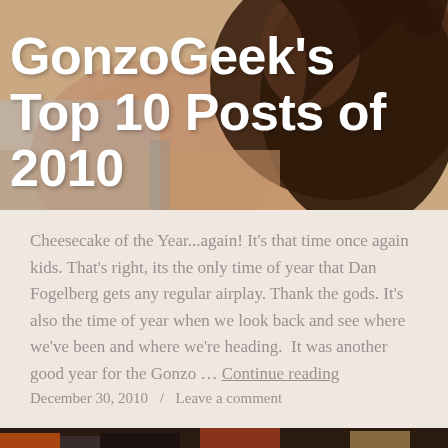[Figure (photo): Hero image of a woman from behind with curly brown hair, used as background for blog post title]
GonzoGeek's Top 10 Posts of 2010
Cheesecake of the Year...again! It's that time once again kids. That's right, its the only time of year that Dan Fogelberg gets any regular airplay. Thank the gods. It's also the time of year when we look back and see where we've been and where we're heading. It was another good year for the Gonzo … Continue reading
December 30, 2010 / Leave a comment
[Figure (photo): Bottom partial image showing a band playing instruments, partially cropped]